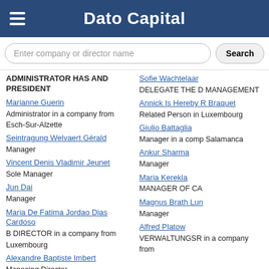Dato Capital
ADMINISTRATOR HAS AND PRESIDENT
Marianne Guerin — Administrator in a company from Esch-Sur-Alzette
Seintragung Welvaert Gérald — Manager
Vincent Denis Vladimir Jeunet — Sole Manager
Jun Dai — Manager
Maria De Fatima Jordao Dias Cardoso — B DIRECTOR in a company from Luxembourg
Alexandre Baptiste Imbert — Managing Director
Guyve Rohani — MANAGER OF TYPE B in a
Sofie Wachtelaar — DELEGATE THE D MANAGEMENT
Annick Is Hereby R Braquet — Related Person in Luxembourg
Giulio Battaglia — Manager in a company from Salamanca
Ankur Sharma — Manager
Maria Kerekla — MANAGER OF CA
Magnus Brath Lun — Manager
Alfred Platow — VERWALTUNGSR in a company from